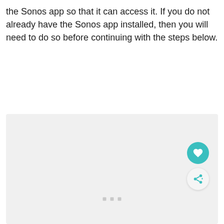the Sonos app so that it can access it. If you do not already have the Sonos app installed, then you will need to do so before continuing with the steps below.
[Figure (screenshot): A light gray placeholder image box with three small gray square dots centered near the bottom, and two circular UI buttons (a teal heart/favorite button and a light share button with a share icon) positioned in the lower-right corner.]